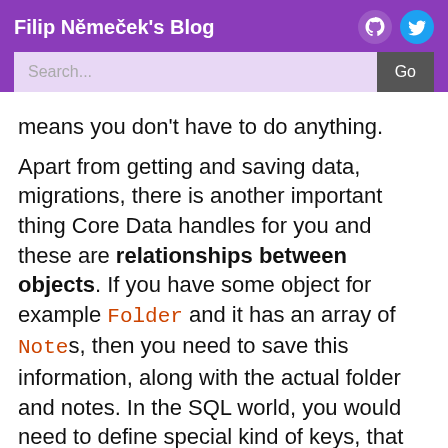Filip Němeček's Blog
means you don't have to do anything.
Apart from getting and saving data, migrations, there is another important thing Core Data handles for you and these are relationships between objects. If you have some object for example Folder and it has an array of Notes, then you need to save this information, along with the actual folder and notes. In the SQL world, you would need to define special kind of keys, that would bind these together. If you setup relationships through Core Data, you get all of this automatically. So you can work with the